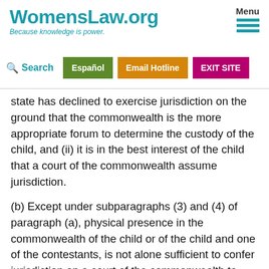WomensLaw.org — Because knowledge is power. | Menu | Search | Español | Email Hotline | EXIT SITE
state has declined to exercise jurisdiction on the ground that the commonwealth is the more appropriate forum to determine the custody of the child, and (ii) it is in the best interest of the child that a court of the commonwealth assume jurisdiction.
(b) Except under subparagraphs (3) and (4) of paragraph (a), physical presence in the commonwealth of the child or of the child and one of the contestants, is not alone sufficient to confer jurisdiction on a court of the commonwealth to make a custody determination.